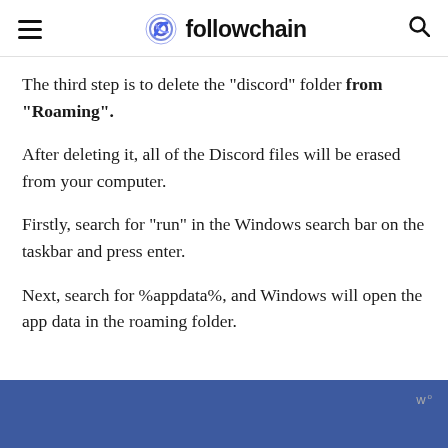followchain
The third step is to delete the “discord” folder from “Roaming”.
After deleting it, all of the Discord files will be erased from your computer.
Firstly, search for “run” in the Windows search bar on the taskbar and press enter.
Next, search for %appdata%, and Windows will open the app data in the roaming folder.
[Figure (screenshot): Blue advertisement banner at the bottom of the page with partial text visible and a watermark logo on the right side.]